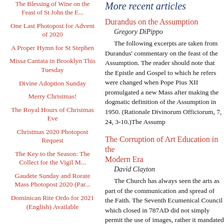The Blessing of Wine on the Feast of St John the E...
One Last Photopost for Advent of 2020
A Proper Hymn for St Stephen
Missa Cantata in Brooklyn This Tuesday
Divine Adoption Sunday
Merry Christmas!
The Royal Hours of Christmas Eve
Christmas 2020 Photopost Request
The Key to the Season: The Collect for the Vigil M...
Gaudete Sunday and Rorate Mass Photopost 2020 (Par...
Dominican Rite Ordo for 2021 (English) Available
More recent articles
Durandus on the Assumption
Gregory DiPippo
The following excerpts are taken from Durandus' commentary on the feast of the Assumption. The reader should note that the Epistle and Gospel to which he refers were changed when Pope Pius XII promulgated a new Mass after making the dogmatic definition of the Assumption in 1950. (Rationale Divinorum Officiorum, 7, 24, 3-10.)The Assump
The Corruption of Art Education in the Modern Era
David Clayton
The Church has always seen the arts as part of the communication and spread of the Faith. The Seventh Ecumenical Council which closed in 787AD did not simply permit the use of images, rather it mandated the veneration of images of Christ, Our Lady, the Saints, as a discipline...